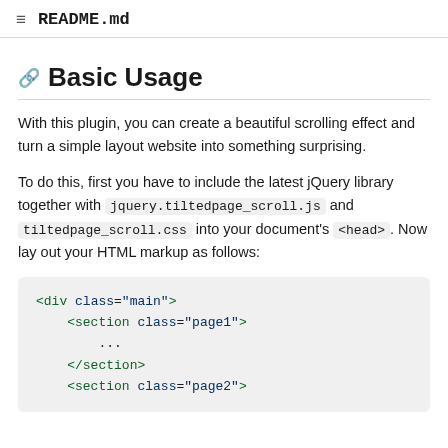README.md
Basic Usage
With this plugin, you can create a beautiful scrolling effect and turn a simple layout website into something surprising.
To do this, first you have to include the latest jQuery library together with jquery.tiltedpage_scroll.js and tiltedpage_scroll.css into your document's <head>. Now lay out your HTML markup as follows:
<div class="main">
    <section class="page1">
        ...
    </section>
    <section class="page2">